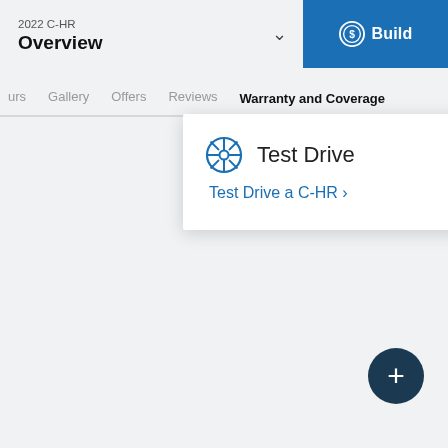2022 C-HR Overview
Warranty and Coverage
Test Drive
Test Drive a C-HR >